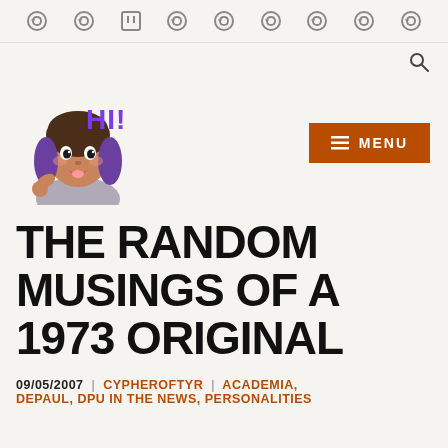Navigation icons row (social/platform icons including Twitch)
[Figure (logo): Cartoon avatar of a young woman with purple hair saying HI! in purple text]
[Figure (other): MENU button (orange/brown background, white text, hamburger icon)]
THE RANDOM MUSINGS OF A 1973 ORIGINAL
09/05/2007  |  CYPHEROFTYR  |  ACADEMIA, DEPAUL, DPU IN THE NEWS, PERSONALITIES